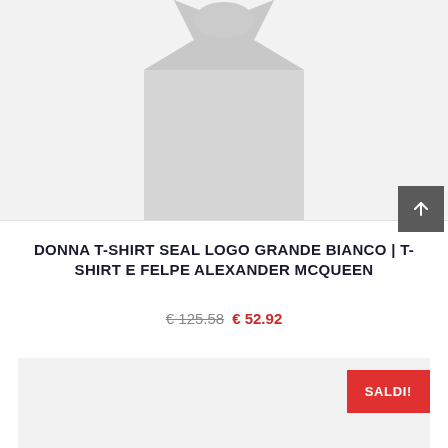[Figure (photo): Partial view of a white t-shirt product on a light gray background]
DONNA T-SHIRT SEAL LOGO GRANDE BIANCO | T-SHIRT E FELPE ALEXANDER MCQUEEN
€ 125.58  € 52.92
[Figure (photo): Second product image area with light gray background and SALDI! badge]